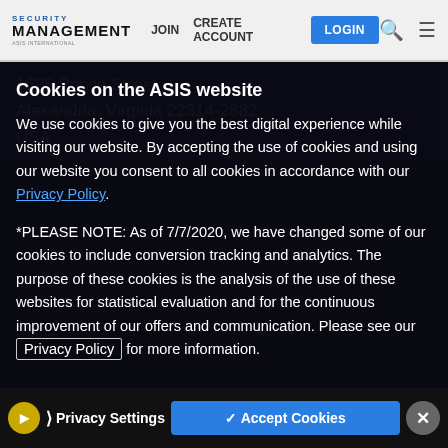SECURITY MANAGEMENT | JOIN | CREATE ACCOUNT | LOGIN
1625 Prince Street
Alexandria, Virginia 22314-2882
USA
Cookies on the ASIS website
We use cookies to give you the best digital experience while visiting our website. By accepting the use of cookies and using our website you consent to all cookies in accordance with our Privacy Policy.
*PLEASE NOTE: As of 7/7/2020, we have changed some of our cookies to include conversion tracking and analytics. The purpose of these cookies is the analysis of the use of these websites for statistical evaluation and for the continuous improvement of our offers and communication. Please see our Privacy Policy for more information.
Privacy Settings | ✓ Accept Cookies